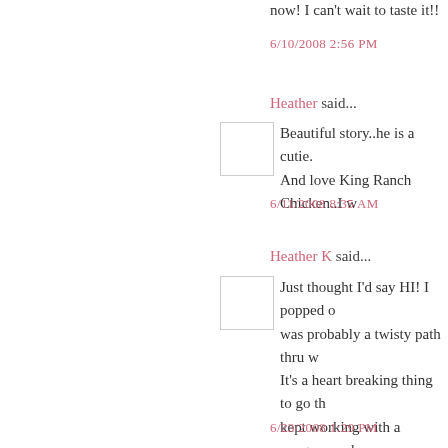now! I can't wait to taste it!!
6/10/2008 2:56 PM
Heather said...
Beautiful story..he is a cutie.
And love King Ranch Chicken..I w
6/11/2008 8:35 AM
Heather K said...
Just thought I'd say HI! I popped o
was probably a twisty path thru w
It's a heart breaking thing to go th
kept working with a vengeance..l
your recipe looks yummy...but I'm
I've enjoyed reading...
6/23/2008 1:29 PM
Heather K said...
oops!! YOU'RE Kelly's Korner...I